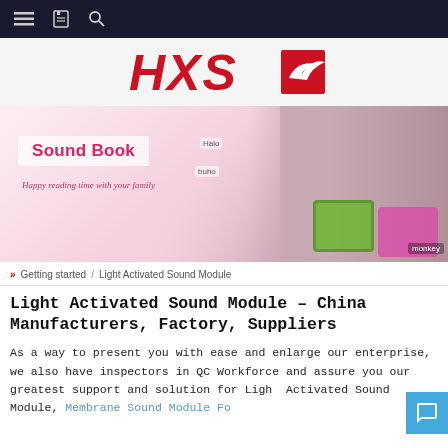Navigation bar with menu, bookmark, and search icons
[Figure (logo): HXS logo in red with stylized wing/wave icon]
[Figure (photo): Banner image showing a child with sound book toys. Text: 'Sound Book' and 'Happy reading time with your family']
» Getting started / Light Activated Sound Module
Light Activated Sound Module – China Manufacturers, Factory, Suppliers
As a way to present you with ease and enlarge our enterprise, we also have inspectors in QC Workforce and assure you our greatest support and solution for Light Activated Sound Module, Membrane Sound Module Fo